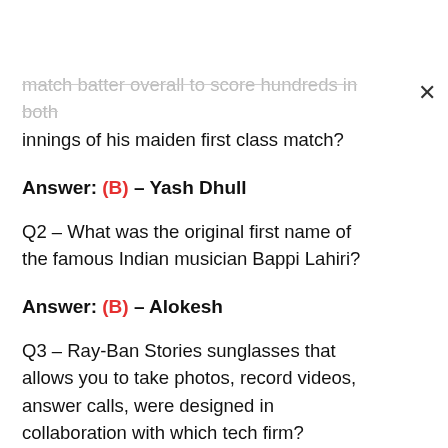...match batter overall to score hundreds in both innings of his maiden first class match?
Answer: (B) – Yash Dhull
Q2 – What was the original first name of the famous Indian musician Bappi Lahiri?
Answer: (B) – Alokesh
Q3 – Ray-Ban Stories sunglasses that allows you to take photos, record videos, answer calls, were designed in collaboration with which tech firm?